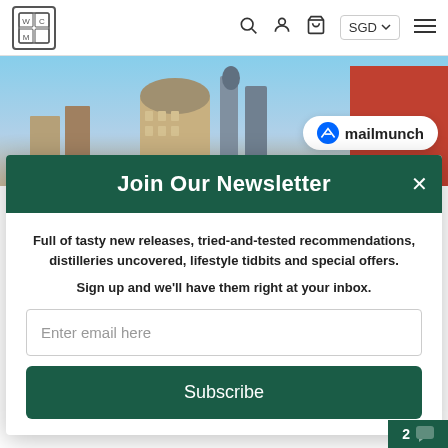[Figure (screenshot): Website navigation bar with logo, search icon, user icon, bag icon, SGD currency selector, and hamburger menu]
[Figure (photo): Hero image showing city buildings with dome/futuristic architecture against a blue sky, with a Mailmunch badge overlay]
Join Our Newsletter
Full of tasty new releases, tried-and-tested recommendations, distilleries uncovered, lifestyle tidbits and special offers.

Sign up and we'll have them right at your inbox.
Enter email here
Subscribe